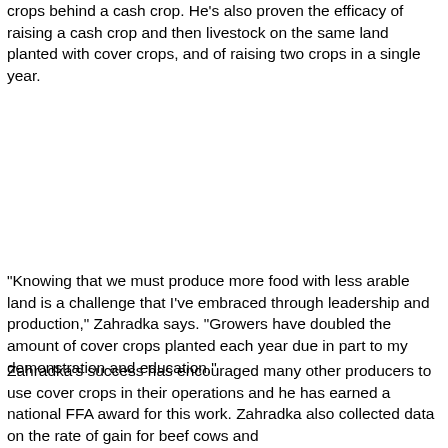crops behind a cash crop. He's also proven the efficacy of raising a cash crop and then livestock on the same land planted with cover crops, and of raising two crops in a single year.
"Knowing that we must produce more food with less arable land is a challenge that I've embraced through leadership and production," Zahradka says. "Growers have doubled the amount of cover crops planted each year due in part to my demonstration and education."
Zahradka's success has encouraged many other producers to use cover crops in their operations and he has earned a national FFA award for this work. Zahradka also collected data on the rate of gain for beef cows and